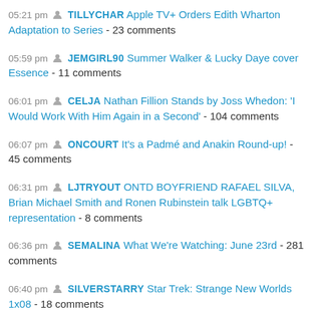05:21 pm TILLYCHAR Apple TV+ Orders Edith Wharton Adaptation to Series - 23 comments
05:59 pm JEMGIRL90 Summer Walker & Lucky Daye cover Essence - 11 comments
06:01 pm CELJA Nathan Fillion Stands by Joss Whedon: 'I Would Work With Him Again in a Second' - 104 comments
06:07 pm ONCOURT It's a Padmé and Anakin Round-up! - 45 comments
06:31 pm LJTRYOUT ONTD BOYFRIEND RAFAEL SILVA, Brian Michael Smith and Ronen Rubinstein talk LGBTQ+ representation - 8 comments
06:36 pm SEMALINA What We're Watching: June 23rd - 281 comments
06:40 pm SILVERSTARRY Star Trek: Strange New Worlds 1x08 - 18 comments
08:07 pm STEWIE_E Chris Evans Reveals That He Just